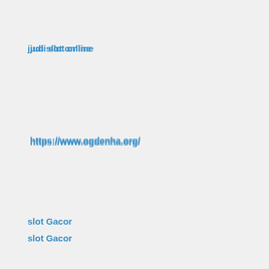judi slot online
https://www.ogdenha.org/
slot Gacor
777slot
situs slot online
situs slot pragmatic88 gacor
rtp live